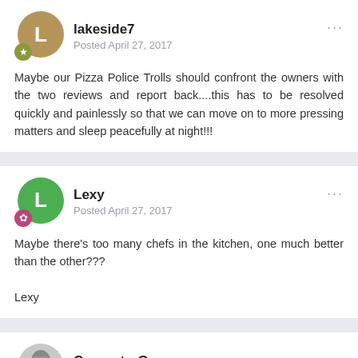lakeside7
Posted April 27, 2017
Maybe our Pizza Police Trolls should confront the owners with the two reviews and report back....this has to be resolved quickly and painlessly so that we can move on to more pressing matters and sleep peacefully at night!!!
Lexy
Posted April 27, 2017
Maybe there's too many chefs in the kitchen, one much better than the other???

Lexy
ComputerGuy
Posted April 27, 2017